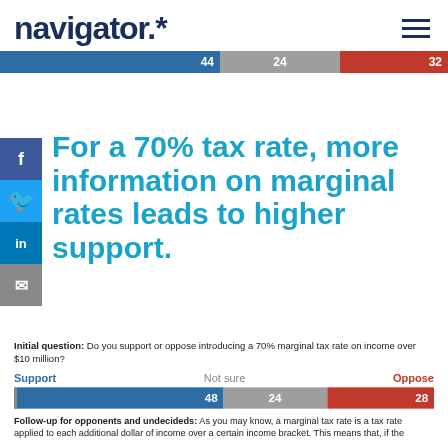navigator.*
[Figure (stacked-bar-chart): Top bar (44/24/32)]
For a 70% tax rate, more information on marginal rates leads to higher support.
Initial question: Do you support or oppose introducing a 70% marginal tax rate on income over $10 million?
[Figure (stacked-bar-chart): Initial question response (48/24/28)]
Follow-up for opponents and undecideds: As you may know, a marginal tax rate is a tax rate applied to each additional dollar of income over a certain income bracket. This means that, if the